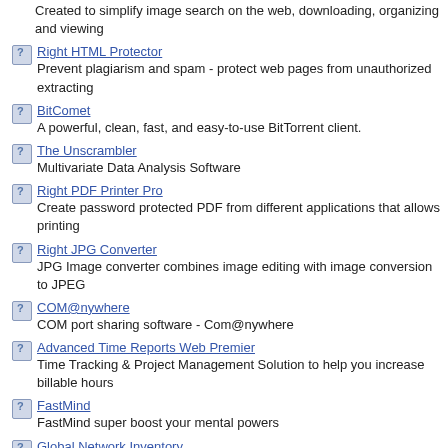Created to simplify image search on the web, downloading, organizing and viewing
Right HTML Protector
Prevent plagiarism and spam - protect web pages from unauthorized extracting
BitComet
A powerful, clean, fast, and easy-to-use BitTorrent client.
The Unscrambler
Multivariate Data Analysis Software
Right PDF Printer Pro
Create password protected PDF from different applications that allows printing
Right JPG Converter
JPG Image converter combines image editing with image conversion to JPEG
COM@nywhere
COM port sharing software - Com@nywhere
Advanced Time Reports Web Premier
Time Tracking & Project Management Solution to help you increase billable hours
FastMind
FastMind super boost your mental powers
Global Network Inventory
Software and hardware inventory system
Brass
Brass can add mouse gestures to any application, display RSS news on your desktop, and more!
Right Autorun
Automatically run any file from your CD
Right Thumbnails